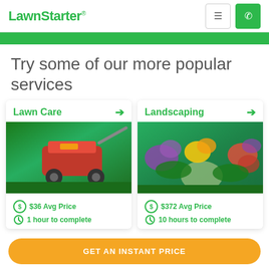LawnStarter
Try some of our more popular services
Lawn Care → $36 Avg Price · 1 hour to complete
Landscaping → $372 Avg Price · 10 hours to complete
GET AN INSTANT PRICE